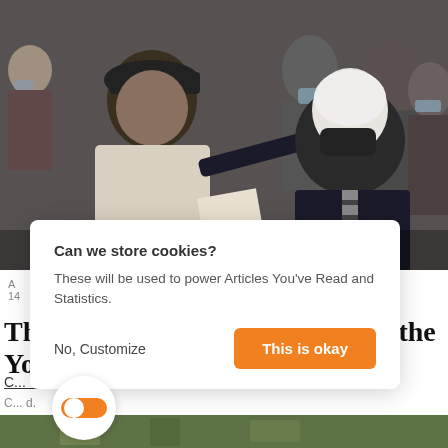[Figure (photo): People seated indoors, some wearing face masks. A man in a cap and light shirt is seated next to an older man in a dark suit and striped tie, both wearing masks. Others visible in background also masked.]
A
14
The parable of the Old Man and the Young
C... Villarreal Gaviria
C... d.
[Figure (photo): Bottom strip showing a partial image with green/brown tones.]
Can we store cookies?

These will be used to power Articles You've Read and Statistics.

No, Customize    This is okay